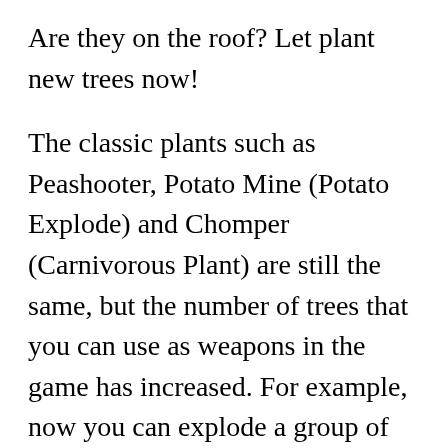Are they on the roof? Let plant new trees now!
The classic plants such as Peashooter, Potato Mine (Potato Explode) and Chomper (Carnivorous Plant) are still the same, but the number of trees that you can use as weapons in the game has increased. For example, now you can explode a group of 3×3 cells using Explode-o-nut. It is effective, gentle but full of nutrition!
Many locations
Adventure mode includes 50 extremely fun levels. In the first 10 levels, you will